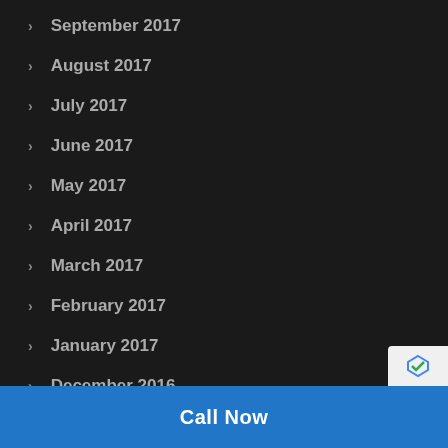September 2017
August 2017
July 2017
June 2017
May 2017
April 2017
March 2017
February 2017
January 2017
December 2016
November 2016
October 2016
Call Now